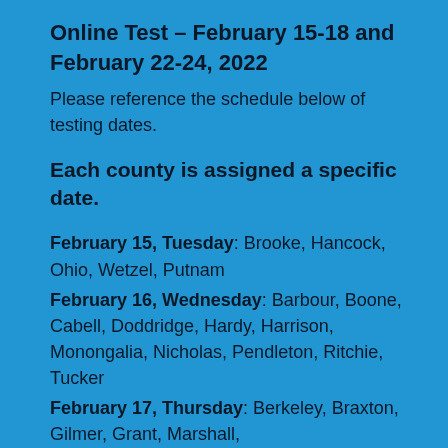Online Test – February 15-18 and February 22-24, 2022
Please reference the schedule below of testing dates.
Each county is assigned a specific date.
February 15, Tuesday: Brooke, Hancock, Ohio, Wetzel, Putnam
February 16, Wednesday: Barbour, Boone, Cabell, Doddridge, Hardy, Harrison, Monongalia, Nicholas, Pendleton, Ritchie, Tucker
February 17, Thursday: Berkeley, Braxton, Gilmer, Grant, Marshall,